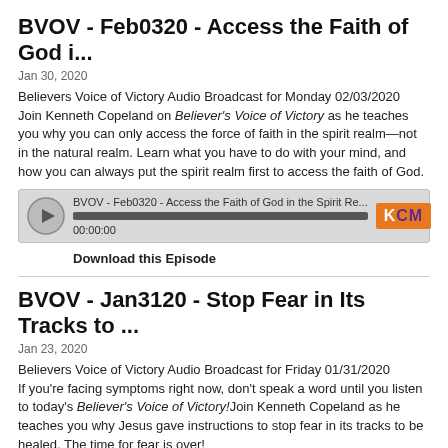BVOV - Feb0320 - Access the Faith of God i...
Jan 30, 2020
Believers Voice of Victory Audio Broadcast for Monday 02/03/2020
Join Kenneth Copeland on Believer's Voice of Victory as he teaches you why you can only access the force of faith in the spirit realm—not in the natural realm. Learn what you have to do with your mind, and how you can always put the spirit realm first to access the faith of God.
[Figure (other): Audio player widget showing BVOV - Feb0320 - Access the Faith of God in the Spirit Re... with progress bar at 00:00:00 and KCM logo]
Download this Episode
BVOV - Jan3120 - Stop Fear in Its Tracks to ...
Jan 23, 2020
Believers Voice of Victory Audio Broadcast for Friday 01/31/2020
If you're facing symptoms right now, don't speak a word until you listen to today's Believer's Voice of Victory!Join Kenneth Copeland as he teaches you why Jesus gave instructions to stop fear in its tracks to be healed. The time for fear is over!